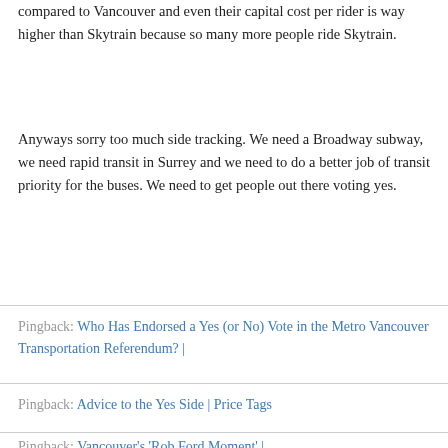compared to Vancouver and even their capital cost per rider is way higher than Skytrain because so many more people ride Skytrain.
Anyways sorry too much side tracking. We need a Broadway subway, we need rapid transit in Surrey and we need to do a better job of transit priority for the buses. We need to get people out there voting yes.
Pingback: Who Has Endorsed a Yes (or No) Vote in the Metro Vancouver Transportation Referendum? |
Pingback: Advice to the Yes Side | Price Tags
Pingback: Vancouver's 'Rob Ford Moment' |